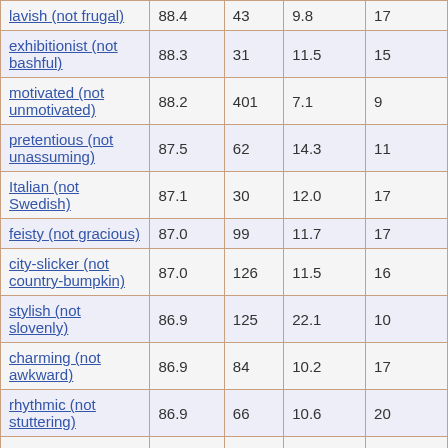| lavish (not frugal) | 88.4 | 43 | 9.8 | 17 |
| exhibitionist (not bashful) | 88.3 | 31 | 11.5 | 15 |
| motivated (not unmotivated) | 88.2 | 401 | 7.1 | 9 |
| pretentious (not unassuming) | 87.5 | 62 | 14.3 | 11 |
| Italian (not Swedish) | 87.1 | 30 | 12.0 | 17 |
| feisty (not gracious) | 87.0 | 99 | 11.7 | 17 |
| city-slicker (not country-bumpkin) | 87.0 | 126 | 11.5 | 16 |
| stylish (not slovenly) | 86.9 | 125 | 22.1 | 10 |
| charming (not awkward) | 86.9 | 84 | 10.2 | 17 |
| rhythmic (not stuttering) | 86.9 | 66 | 10.6 | 20 |
| gendered (not ... |  |  |  |  |